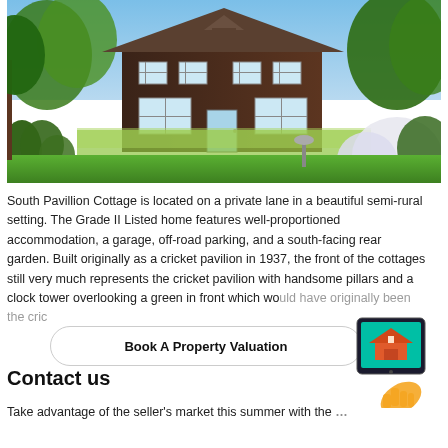[Figure (photo): Exterior photo of South Pavillion Cottage, a dark wood-clad semi-rural property with well-kept lawn and garden, surrounded by mature trees and flowering shrubs under a clear blue sky.]
South Pavillion Cottage is located on a private lane in a beautiful semi-rural setting. The Grade II Listed home features well-proportioned accommodation, a garage, off-road parking, and a south-facing rear garden. Built originally as a cricket pavilion in 1937, the front of the cottages still very much represents the cricket pavilion with handsome pillars and a clock tower overlooking a green in front which would have originally been the cric…
[Figure (infographic): Book A Property Valuation call-to-action banner with tablet device icon showing a house image, with a hand pointing at it.]
Contact us
Take advantage of the seller's market this summer with the …